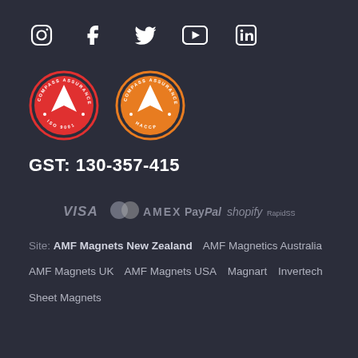[Figure (infographic): Social media icons row: Instagram, Facebook, Twitter, YouTube, LinkedIn]
[Figure (infographic): Two Compass Assurance Services certification badges: ISO 9001 (red) and HACCP (orange)]
GST: 130-357-415
[Figure (infographic): Payment method logos: VISA, MasterCard, AMEX, PayPal, shopify, RapidSSL]
Site:  AMF Magnets New Zealand  AMF Magnetics Australia
AMF Magnets UK  AMF Magnets USA  Magnart  Invertech
Sheet Magnets